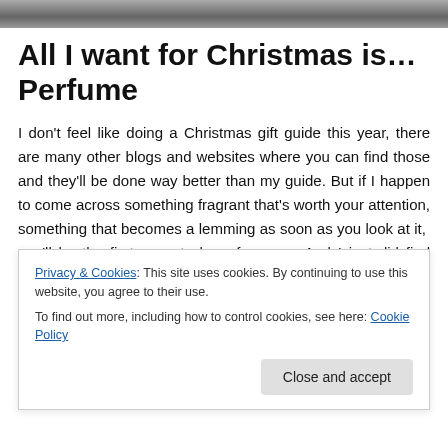[Figure (photo): Partial photo strip at top of page, showing a dark/grey image crop]
All I want for Christmas is… Perfume
I don't feel like doing a Christmas gift guide this year, there are many other blogs and websites where you can find those and they'll be done way better than my guide. But if I happen to come across something fragrant that's worth your attention, something that becomes a lemming as soon as you look at it,  you'll be the first ones to hear from me. And I just did find something pretty!
Privacy & Cookies: This site uses cookies. By continuing to use this website, you agree to their use.
To find out more, including how to control cookies, see here: Cookie Policy
Close and accept